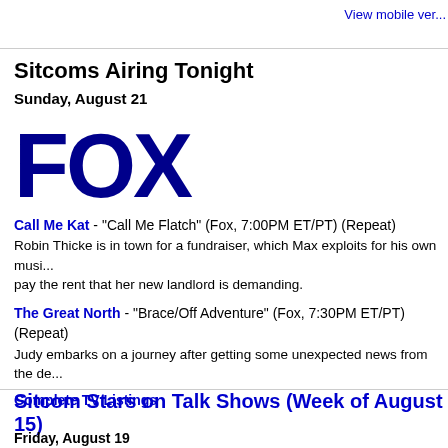View mobile ver...
Sitcoms Airing Tonight
Sunday, August 21
[Figure (logo): FOX network logo — large bold dark blue text reading FOX]
Call Me Kat - "Call Me Flatch" (Fox, 7:00PM ET/PT) (Repeat)
Robin Thicke is in town for a fundraiser, which Max exploits for his own mus... pay the rent that her new landlord is demanding.
The Great North - "Brace/Off Adventure" (Fox, 7:30PM ET/PT) (Repeat)
Judy embarks on a journey after getting some unexpected news from the de...
Complete TV Listings
Sitcom Stars on Talk Shows (Week of August 15)
Friday, August 19